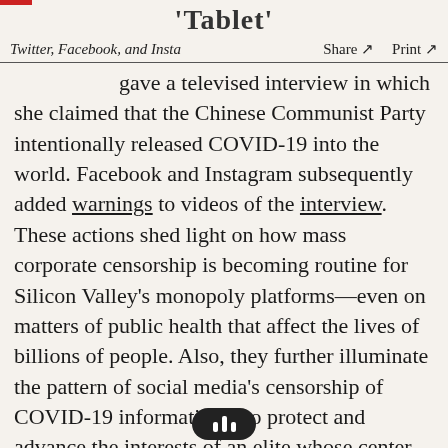Tablet
Twitter, Facebook, and Insta    Share ↗    Print ↗
gave a televised interview in which she claimed that the Chinese Communist Party intentionally released COVID-19 into the world. Facebook and Instagram subsequently added warnings to videos of the interview. These actions shed light on how mass corporate censorship is becoming routine for Silicon Valley's monopoly platforms—even on matters of public health that affect the lives of billions of people. Also, they further illuminate the pattern of social media's censorship of COVID-19 information—to protect and advance the interests of an elite whose center of gravity is its relationship with th... China